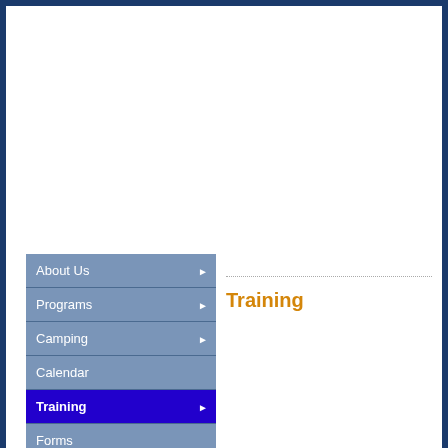About Us
Programs
Camping
Calendar
Training
Forms
Scout Shop
Support Us
Order of the Arrow
Wood Badge
Training